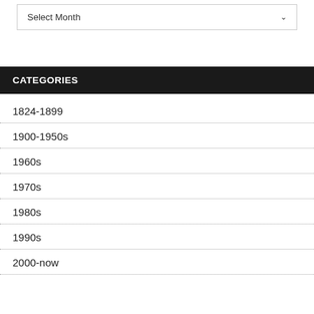Select Month
CATEGORIES
1824-1899
1900-1950s
1960s
1970s
1980s
1990s
2000-now